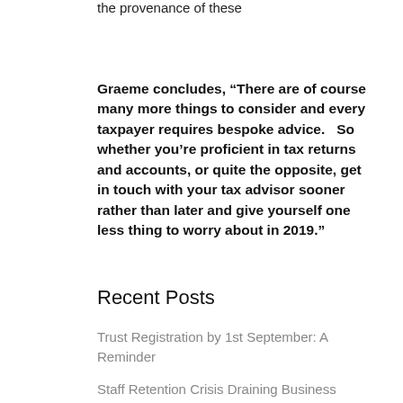the provenance of these
Graeme concludes, “There are of course many more things to consider and every taxpayer requires bespoke advice.   So whether you’re proficient in tax returns and accounts, or quite the opposite, get in touch with your tax advisor sooner rather than later and give yourself one less thing to worry about in 2019.”
Recent Posts
Trust Registration by 1st September: A Reminder
Staff Retention Crisis Draining Business Focus